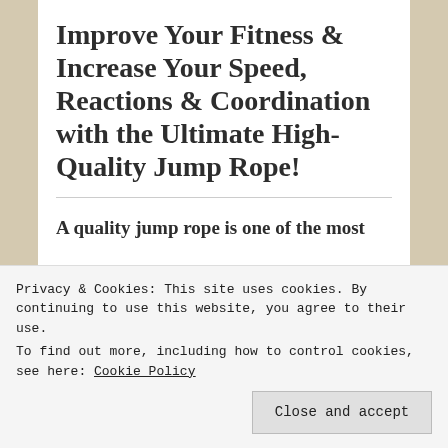Improve Your Fitness & Increase Your Speed, Reactions & Coordination with the Ultimate High-Quality Jump Rope!
A quality jump rope is one of the most
Privacy & Cookies: This site uses cookies. By continuing to use this website, you agree to their use.
To find out more, including how to control cookies, see here: Cookie Policy
Close and accept
you need to add in the training